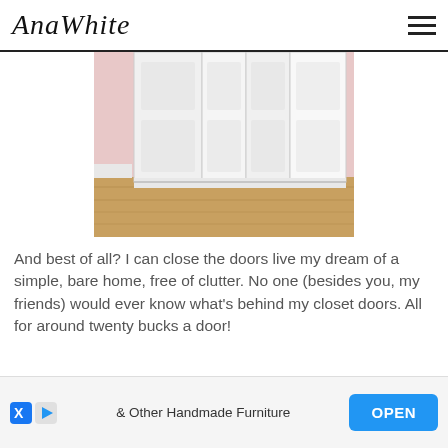AnaWhite
[Figure (photo): White closet bifold doors closed against a pink wall with light wood flooring visible at the bottom.]
And best of all?  I can close the doors live my dream of a simple, bare home, free of clutter.  No one (besides you, my friends) would ever know what's behind my closet doors.  All for around twenty bucks a door!
& Other Handmade Furniture   OPEN